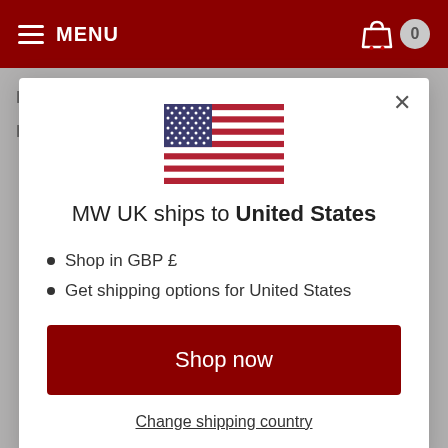MENU | 0
[Figure (illustration): US flag SVG illustration]
MW UK ships to United States
Shop in GBP £
Get shipping options for United States
Shop now
Change shipping country
Purple, Vivid Pink, Ultimate Green
Please allow 2-4 weeks for delivery.